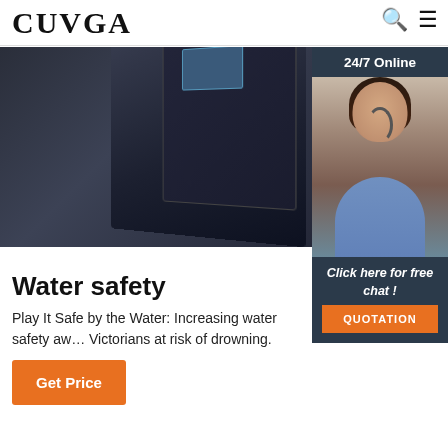CUVGA
[Figure (photo): Dark metal safe/cabinet product image with screen panel, partially visible from top]
[Figure (photo): 24/7 Online chat widget showing a woman with headset smiling, with 'Click here for free chat!' text and QUOTATION button]
Water safety
Play It Safe by the Water: Increasing water safety awareness among Victorians at risk of drowning.
Get Price